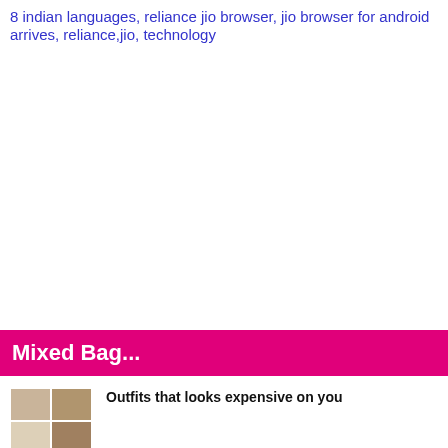8 indian languages, reliance jio browser, jio browser for android arrives, reliance,jio, technology
Mixed Bag...
[Figure (photo): Thumbnail collage image of outfits/fashion items]
Outfits that looks expensive on you